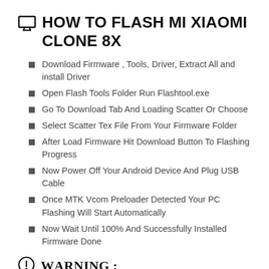HOW TO FLASH MI XIAOMI CLONE 8X
Download Firmware , Tools, Driver, Extract All and install Driver
Open Flash Tools Folder Run Flashtool.exe
Go To Download Tab And Loading Scatter Or Choose
Select Scatter Tex File From Your Firmware Folder
After Load Firmware Hit Download Button To Flashing Progress
Now Power Off Your Android Device And Plug USB Cable
Once MTK Vcom Preloader Detected Your PC Flashing Will Start Automatically
Now Wait Until 100% And Successfully Installed Firmware Done
Warning :